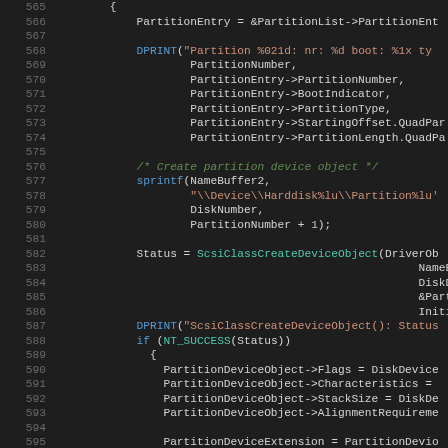[Figure (screenshot): Source code listing showing C code for partition device creation, lines 565-597, with syntax highlighting on dark background. Blue keywords, teal function names, red/orange strings, green comments.]